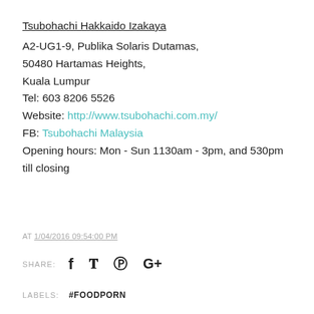Tsubohachi Hakkaido Izakaya
A2-UG1-9, Publika Solaris Dutamas,
50480 Hartamas Heights,
Kuala Lumpur
Tel: 603 8206 5526
Website: http://www.tsubohachi.com.my/
FB: Tsubohachi Malaysia
Opening hours: Mon - Sun 1130am - 3pm, and 530pm till closing
AT 1/04/2016 09:54:00 PM
SHARE:
LABELS: #FOODPORN